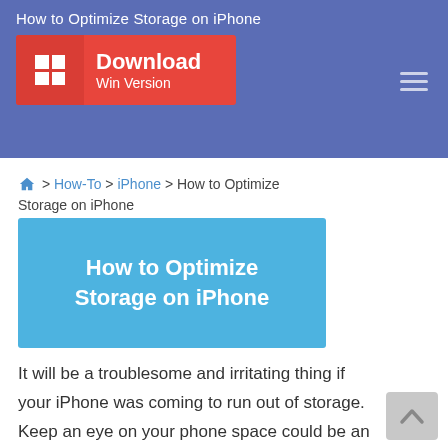How to Optimize Storage on iPhone
[Figure (screenshot): Download button (Win Version) with red background and Windows logo icon on blue header bar]
> How-To > iPhone > How to Optimize Storage on iPhone
[Figure (infographic): Light blue banner image with white text: How to Optimize Storage on iPhone]
It will be a troublesome and irritating thing if your iPhone was coming to run out of storage. Keep an eye on your phone space could be an important thing, an 'memory exhausted' alert may come out when you want to record a concert or download a video game, and I know, that feeling would